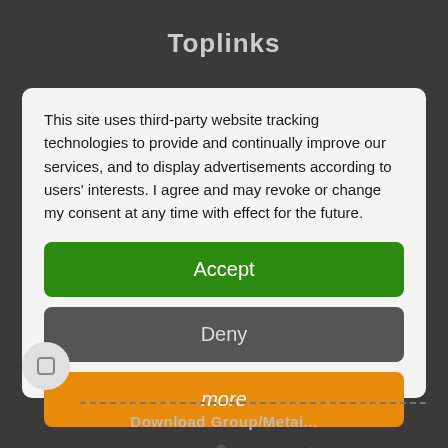Toplinks
This site uses third-party website tracking technologies to provide and continually improve our services, and to display advertisements according to users' interests. I agree and may revoke or change my consent at any time with effect for the future.
Accept
Deny
more
Powered by usercentrics